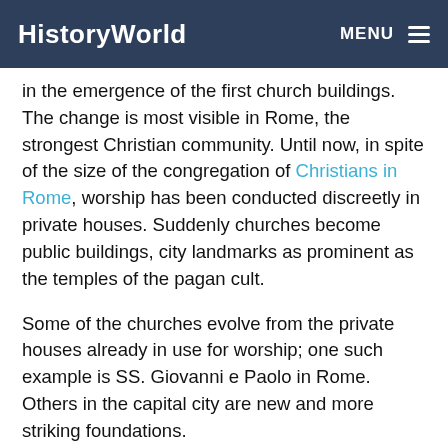HistoryWorld  MENU
in the emergence of the first church buildings. The change is most visible in Rome, the strongest Christian community. Until now, in spite of the size of the congregation of Christians in Rome, worship has been conducted discreetly in private houses. Suddenly churches become public buildings, city landmarks as prominent as the temples of the pagan cult.
Some of the churches evolve from the private houses already in use for worship; one such example is SS. Giovanni e Paolo in Rome. Others in the capital city are new and more striking foundations.
Constantine establishes three important churches in Rome. One, intended to be the city's cathedral, is sited immediately beside his own Lateran palace - already